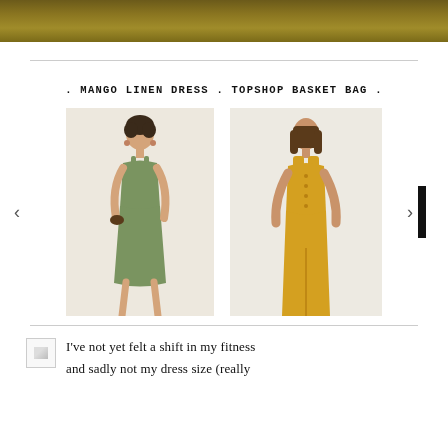[Figure (photo): Top banner image with olive/golden brown blurred background]
. MANGO LINEN DRESS . TOPSHOP BASKET BAG .
[Figure (photo): Product carousel showing two fashion items: left - a woman in a sage green linen spaghetti strap midi dress; right - a woman in a mustard yellow linen jumpsuit with button front. Navigation arrows on sides with a black bar on right.]
I've not yet felt a shift in my fitness and sadly not my dress size (really